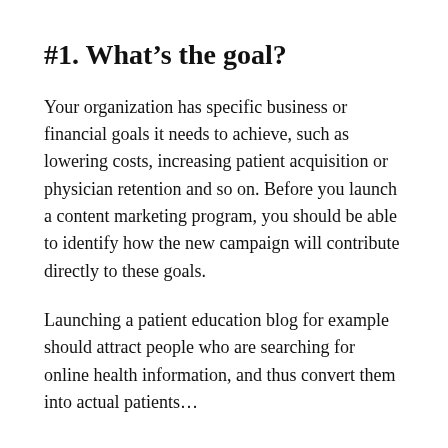#1. What's the goal?
Your organization has specific business or financial goals it needs to achieve, such as lowering costs, increasing patient acquisition or physician retention and so on. Before you launch a content marketing program, you should be able to identify how the new campaign will contribute directly to these goals.
Launching a patient education blog for example should attract people who are searching for online health information, and thus convert them into actual patients…